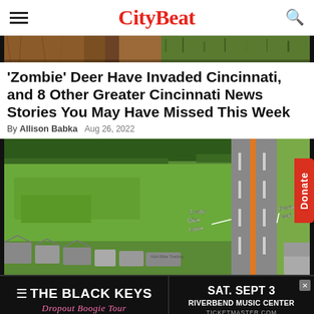CityBeat
[Figure (photo): Cropped close-up photo of a deer with brown fur and green grass background]
'Zombie' Deer Have Invaded Cincinnati, and 8 Other Greater Cincinnati News Stories You May Have Missed This Week
By Allison Babka   Aug 26, 2022
[Figure (photo): Aerial satellite view of a road with green fields, buildings, and handwritten annotations reading '2-way Bike Lane' and 'Barrier']
[Figure (other): Advertisement banner for The Black Keys Dropout Boogie Tour, SAT. SEPT 3 at Riverbend Music Center, ticketmaster.com]